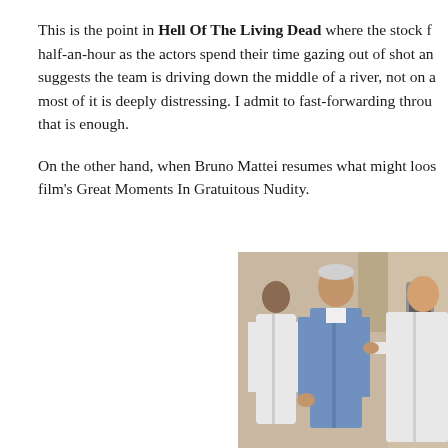This is the point in Hell Of The Living Dead where the stock footage goes on for over half-an-hour as the actors spend their time gazing out of shot and the commentary suggests the team is driving down the middle of a river, not on a road. All of it and most of it is deeply distressing. I admit to fast-forwarding through some of it, but that is enough.
On the other hand, when Bruno Mattei resumes what might loosely be called the film's Great Moments In Gratuitous Nudity.
[Figure (photo): A scene showing three people in a room — one person in a white lab coat on the left viewed from behind, a middle-aged man in a blue jacket in the center viewed from behind, and another person in a white coat on the right partially visible. Medical or laboratory equipment visible on the right side.]